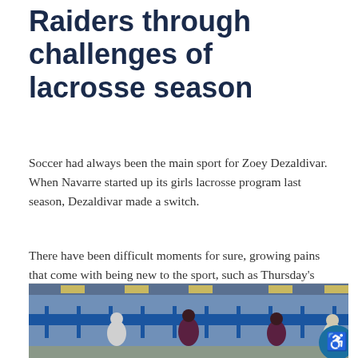Raiders through challenges of lacrosse season
Soccer had always been the main sport for Zoey Dezaldivar. When Navarre started up its girls lacrosse program last season, Dezaldivar made a switch.
There have been difficult moments for sure, growing pains that come with being new to the sport, such as Thursday's 12-1 loss to Seacoast Collegiate at Ian Lockwood Field.
[Figure (photo): Athletes running on a track at a stadium with blue fencing and bleachers visible in the background. Multiple female runners in dark uniforms are visible.]